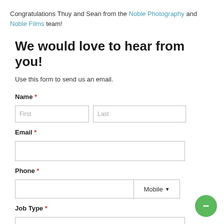Congratulations Thuy and Sean from the Noble Photography and Noble Films team!
We would love to hear from you!
Use this form to send us an email.
Name *
[Figure (screenshot): Two text input fields side by side labeled First and Last]
Email *
[Figure (screenshot): Email input field, full width]
Phone *
[Figure (screenshot): Phone input field with Mobile dropdown selector]
Job Type *
[Figure (screenshot): Job Type input field, partially visible at bottom]